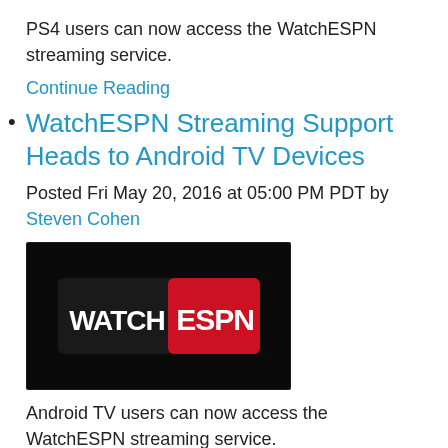PS4 users can now access the WatchESPN streaming service.
Continue Reading
WatchESPN Streaming Support Heads to Android TV Devices
Posted Fri May 20, 2016 at 05:00 PM PDT by Steven Cohen
[Figure (logo): WatchESPN logo on dark background — white WATCH text and red ESPN badge]
Android TV users can now access the WatchESPN streaming service.
Continue Reading
TCL Releases New Roku Smart HDTVs with